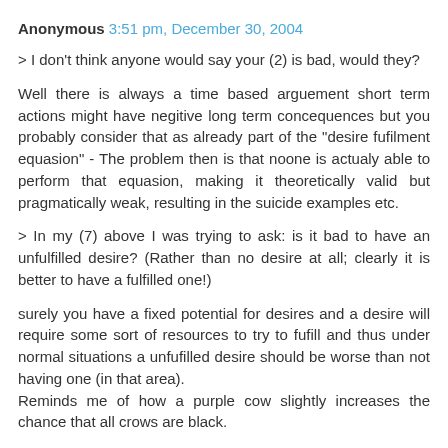Anonymous 3:51 pm, December 30, 2004
> I don't think anyone would say your (2) is bad, would they?
Well there is always a time based arguement short term actions might have negitive long term concequences but you probably consider that as already part of the "desire fufilment equasion" - The problem then is that noone is actualy able to perform that equasion, making it theoretically valid but pragmatically weak, resulting in the suicide examples etc.
> In my (7) above I was trying to ask: is it bad to have an unfulfilled desire? (Rather than no desire at all; clearly it is better to have a fulfilled one!)
surely you have a fixed potential for desires and a desire will require some sort of resources to try to fufill and thus under normal situations a unfufilled desire should be worse than not having one (in that area).
Reminds me of how a purple cow slightly increases the chance that all crows are black.